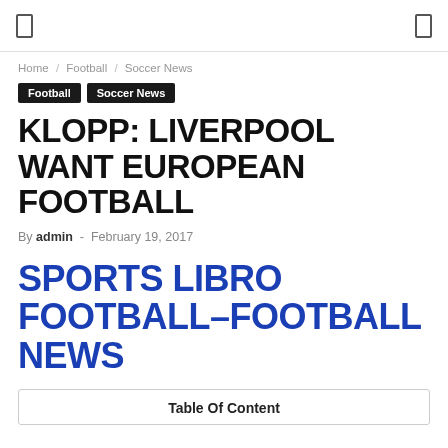Home / Football / Soccer News
Football  Soccer News
KLOPP: LIVERPOOL WANT EUROPEAN FOOTBALL
By admin - February 19, 2017
SPORTS LIBRO FOOTBALL–FOOTBALL NEWS
| Table Of Content |
| --- |